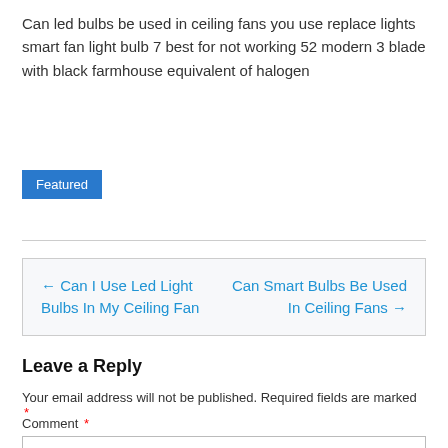Can led bulbs be used in ceiling fans you use replace lights smart fan light bulb 7 best for not working 52 modern 3 blade with black farmhouse equivalent of halogen
Featured
← Can I Use Led Light Bulbs In My Ceiling Fan
Can Smart Bulbs Be Used In Ceiling Fans →
Leave a Reply
Your email address will not be published. Required fields are marked *
Comment *